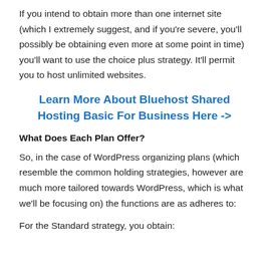If you intend to obtain more than one internet site (which I extremely suggest, and if you're severe, you'll possibly be obtaining even more at some point in time) you'll want to use the choice plus strategy. It'll permit you to host unlimited websites.
Learn More About Bluehost Shared Hosting Basic For Business Here ->
What Does Each Plan Offer?
So, in the case of WordPress organizing plans (which resemble the common holding strategies, however are much more tailored towards WordPress, which is what we'll be focusing on) the functions are as adheres to:
For the Standard strategy, you obtain: